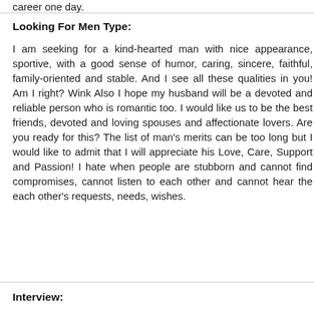career one day.
Looking For Men Type:
I am seeking for a kind-hearted man with nice appearance, sportive, with a good sense of humor, caring, sincere, faithful, family-oriented and stable. And I see all these qualities in you! Am I right? Wink Also I hope my husband will be a devoted and reliable person who is romantic too. I would like us to be the best friends, devoted and loving spouses and affectionate lovers. Are you ready for this? The list of man's merits can be too long but I would like to admit that I will appreciate his Love, Care, Support and Passion! I hate when people are stubborn and cannot find compromises, cannot listen to each other and cannot hear the each other's requests, needs, wishes.
Interview: